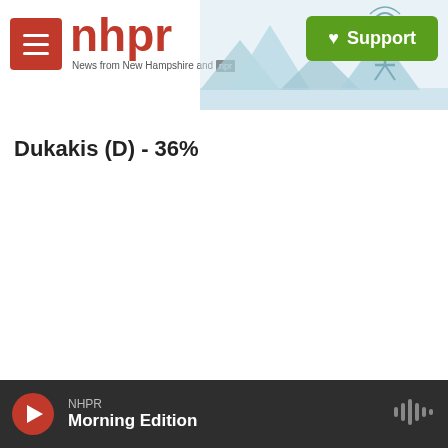NHPR - News from New Hampshire and NPR
Dukakis (D) - 36%
NHPR Morning Edition